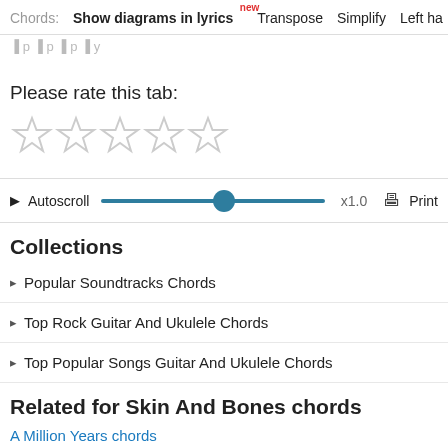Chords: Show diagrams in lyrics new  Transpose  Simplify  Left ha
Please rate this tab:
[Figure (other): Five empty star rating icons in gray]
[Figure (other): Autoscroll control bar with play button, slider at ~55%, x1.0 speed, and Print button]
Collections
Popular Soundtracks Chords
Top Rock Guitar And Ukulele Chords
Top Popular Songs Guitar And Ukulele Chords
Related for Skin And Bones chords
A Million Years chords